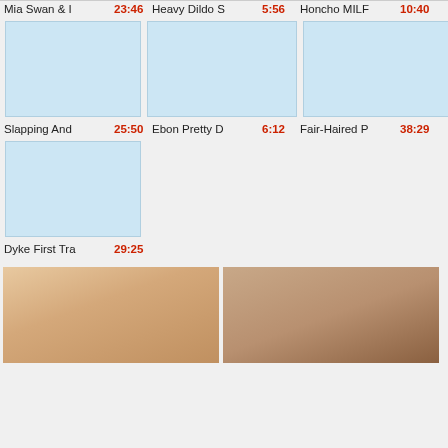Mia Swan & I  23:46  Heavy Dildo S  5:56  Honcho MILF  10:40
[Figure (photo): Three video thumbnails row 1: placeholder light blue rectangles]
Slapping And  25:50  Ebon Pretty D  6:12  Fair-Haired P  38:29
[Figure (photo): Single video thumbnail: placeholder light blue rectangle - Dyke First Tra 29:25]
Dyke First Tra  29:25
[Figure (photo): Two bottom photos: left shows blonde woman, right shows woman with tattoo]
Bottom promotional images